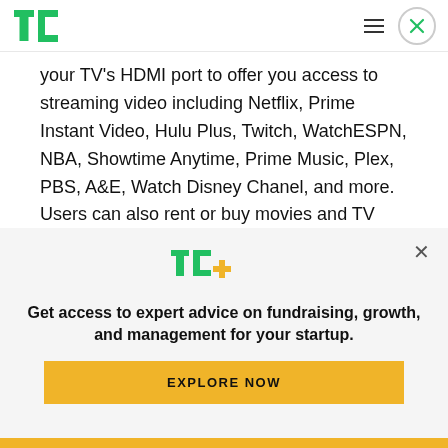TechCrunch logo, hamburger menu, close button
your TV's HDMI port to offer you access to streaming video including Netflix, Prime Instant Video, Hulu Plus, Twitch, WatchESPN, NBA, Showtime Anytime, Prime Music, Plex, PBS, A&E, Watch Disney Chanel, and more. Users can also rent or buy movies and TV shows from Amazon Instant Video which today offers over 200,000 titles.
[Figure (logo): TC+ logo in green and yellow]
Get access to expert advice on fundraising, growth, and management for your startup.
EXPLORE NOW